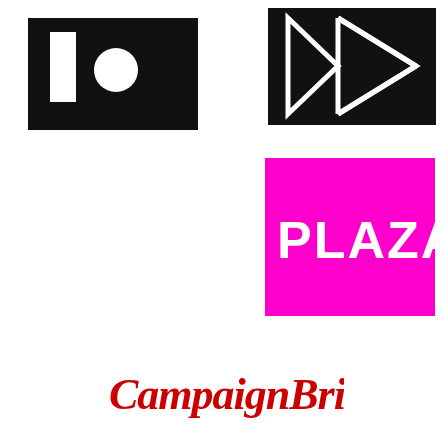[Figure (logo): Black rectangle logo with white vertical bar and white circle (i.o style logo), top left]
[Figure (logo): Black rectangle logo with abstract white geometric/diamond shape, top right]
[Figure (logo): Magenta/fuchsia square with white bold text PLAZA]
[Figure (logo): Campaign Brief logo in red cursive/script font at bottom center]